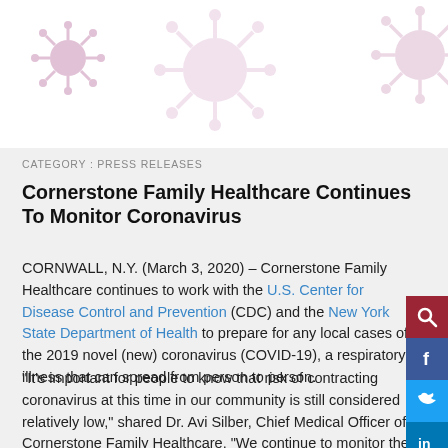[Figure (illustration): White banner with decorative coronavirus/virus particle illustrations in pink/mauve colors on white background]
CATEGORY : PRESS RELEASES
Cornerstone Family Healthcare Continues To Monitor Coronavirus
CORNWALL, N.Y. (March 3, 2020) – Cornerstone Family Healthcare continues to work with the U.S. Center for Disease Control and Prevention (CDC) and the New York State Department of Health to prepare for any local cases of the 2019 novel (new) coronavirus (COVID-19), a respiratory illness that can spread from person to person.
“It’s important for people to know that risk of contracting coronavirus at this time in our community is still considered relatively low,” shared Dr. Avi Silber, Chief Medical Officer of Cornerstone Family Healthcare. “We continue to monitor the rapidly evolving situation closely and are doing everything we can to prepare our staff and our patients